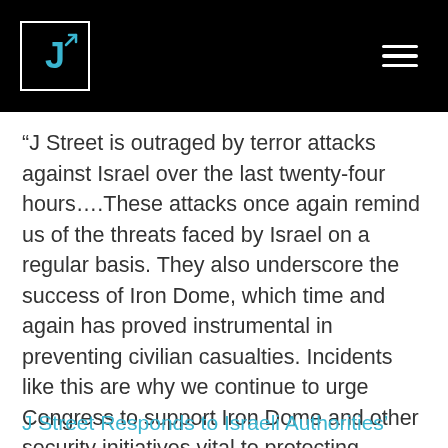J Street logo and navigation
“J Street is outraged by terror attacks against Israel over the last twenty-four hours….These attacks once again remind us of the threats faced by Israel on a regular basis. They also underscore the success of Iron Dome, which time and again has proved instrumental in preventing civilian casualties. Incidents like this are why we continue to urge Congress to support Iron Dome and other security initiatives vital to protecting Israelis.”
J Street Responds to Israeli Authorities’